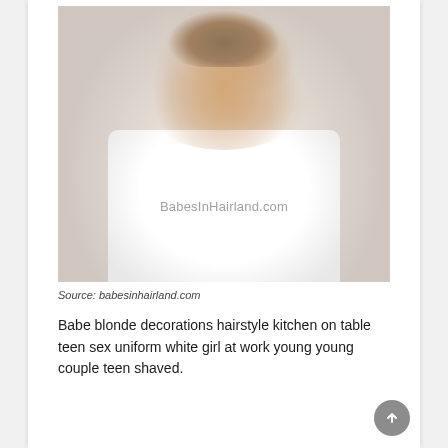[Figure (photo): Young girl with blonde hair in an updo, wearing a white t-shirt, looking to the side. Watermark text 'BabesInHairland.com' visible on shirt.]
Source: babesinhairland.com
Babe blonde decorations hairstyle kitchen on table teen sex uniform white girl at work young young couple teen shaved. the past...